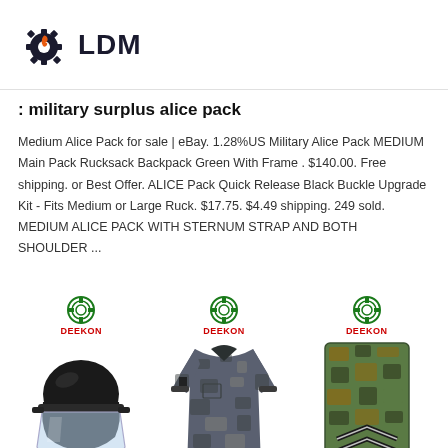LDM
: military surplus alice pack
Medium Alice Pack for sale | eBay. 1.28%US Military Alice Pack MEDIUM Main Pack Rucksack Backpack Green With Frame . $140.00. Free shipping. or Best Offer. ALICE Pack Quick Release Black Buckle Upgrade Kit - Fits Medium or Large Ruck. $17.75. $4.49 shipping. 249 sold. MEDIUM ALICE PACK WITH STERNUM STRAP AND BOTH SHOULDER ...
[Figure (photo): Three military/tactical product images from DEEKON: a riot control helmet with clear visor, a digital camouflage combat shirt, and a camouflage epaulette/shoulder board with chevrons.]